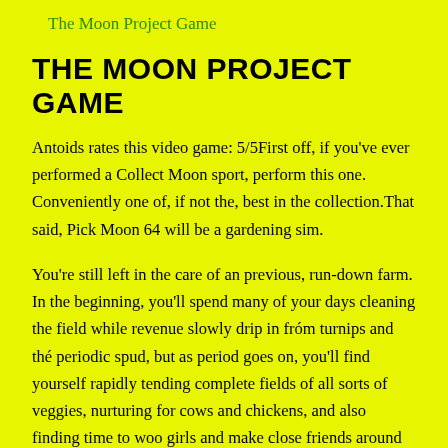The Moon Project Game
THE MOON PROJECT GAME
Antoids rates this video game: 5/5First off, if you've ever performed a Collect Moon sport, perform this one. Conveniently one of, if not the, best in the collection.That said, Pick Moon 64 will be a gardening sim.
You're still left in the care of an previous, run-down farm. In the beginning, you'll spend many of your days cleaning the field while revenue slowly drip in fróm turnips and thé periodic spud, but as period goes on, you'll find yourself rapidly tending complete fields of all sorts of veggies, nurturing for cows and chickens, and also finding time to woo girls and make close friends around city. To split up the gardening, some days presently there will become special festivals, like an egg-finding sport or equine competitions in city.The primary of the gameplay concentrates around controlling your period and strength. You need to have everything you program to market for the